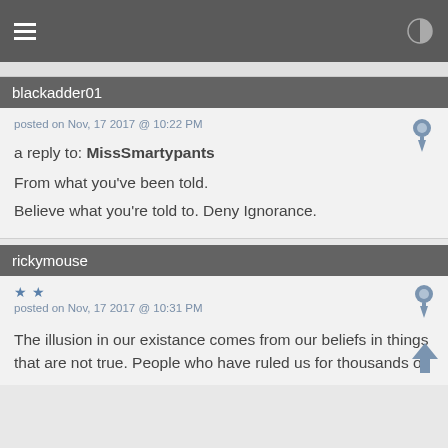blackadder01
posted on Nov, 17 2017 @ 10:22 PM
a reply to: MissSmartypants
From what you've been told.
Believe what you're told to. Deny Ignorance.
rickymouse
posted on Nov, 17 2017 @ 10:31 PM
The illusion in our existance comes from our beliefs in things that are not true. People who have ruled us for thousands of